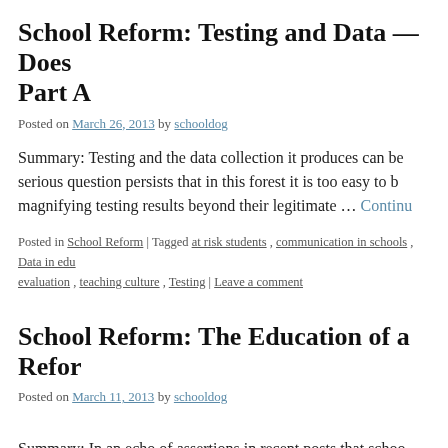School Reform: Testing and Data — Does Part A
Posted on March 26, 2013 by schooldog
Summary: Testing and the data collection it produces can be serious question persists that in this forest it is too easy to magnifying testing results beyond their legitimate … Continue reading →
Posted in School Reform | Tagged at risk students , communication in schools , Data in edu evaluation , teaching culture , Testing | Leave a comment
School Reform: The Education of a Refor
Posted on March 11, 2013 by schooldog
Summary: In an echo of assertions in recent posts that schoo deeply into the ranks in their effort to reform failing schools, arrival point of the career of … Continue reading →